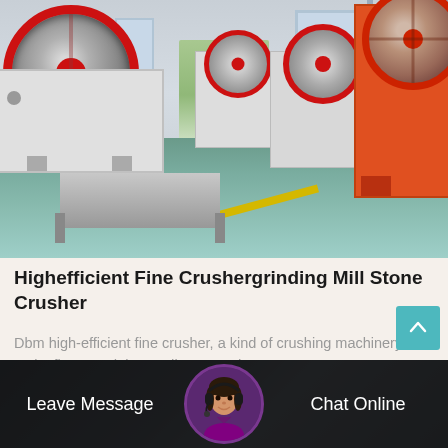[Figure (photo): Factory floor showing multiple large jaw crushers / grinding mill stone crusher machines with red and white color scheme, arranged in an industrial warehouse with green-tinted floor]
Highefficient Fine Crushergrinding Mill Stone Crusher
Dbm high-efficient fine crusher, a kind of crushing machinery, can make finer sand than ordinary sand...
[Figure (photo): Bottom navigation bar with 'Leave Message' on the left, customer service avatar in the center, and 'Chat Online' on the right, over a dark semi-transparent overlay on an industrial background]